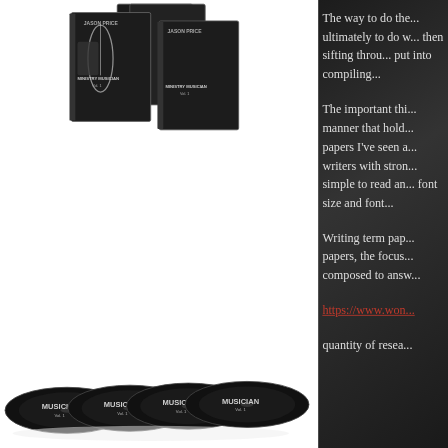[Figure (photo): DVD/CD product set showing 'Ministry Musician' volumes by Jason Price, including DVD cases and disc set, displayed on white background]
ADD TO MAILING LIST
Your Name (required)
Your Email (required)
Send
The way to do the... ultimately to do w... then sifting throu... put into compiling...
The important thi... manner that hold... papers I've seen a... writers with stron... simple to read an... font size and font...
Writing term pap... papers, the focus... composed to answ...
https://www.won...
quantity of resea...